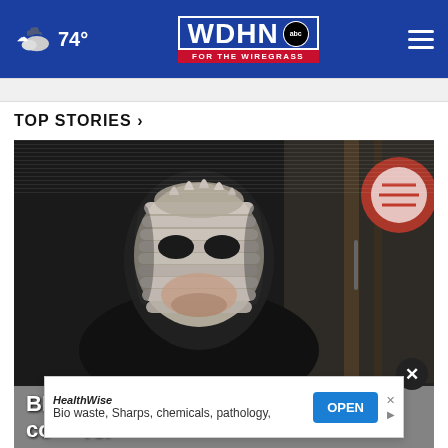WDHN ABC FOR THE WIREGRASS — 74°
TOP STORIES ›
[Figure (photo): Surveillance camera still image of a person wearing a decorative skull-like face mask, dressed in dark clothing, inside what appears to be a convenience store. A circular logo is visible in the upper right corner.]
BP... con...re.
HealthWise — Bio waste, Sharps, chemicals, pathology, ...re.